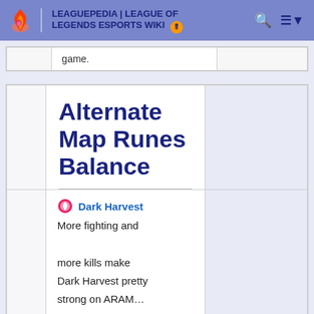LEAGUEPEDIA | LEAGUE OF LEGENDS ESPORTS WIKI
| game. |  |
Alternate Map Runes Balance
Dark Harvest
More fighting and more kills make Dark Harvest pretty strong on ARAM…